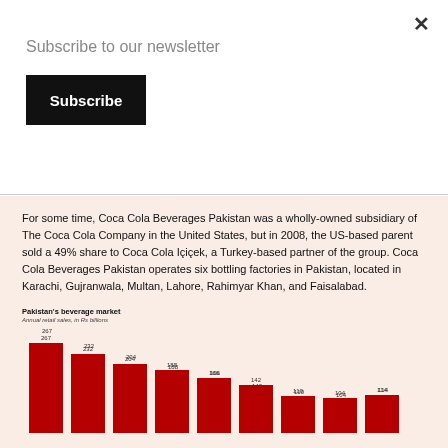Subscribe to our newsletter
Subscribe
For some time, Coca Cola Beverages Pakistan was a wholly-owned subsidiary of The Coca Cola Company in the United States, but in 2008, the US-based parent sold a 49% share to Coca Cola Içiçek, a Turkey-based partner of the group. Coca Cola Beverages Pakistan operates six bottling factories in Pakistan, located in Karachi, Gujranwala, Multan, Lahore, Rahimyar Khan, and Faisalabad.
[Figure (bar-chart): Pakistan's beverage market]